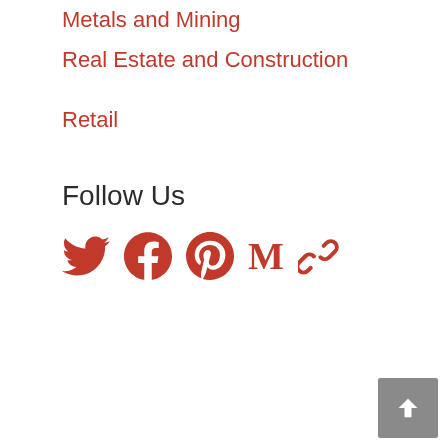Metals and Mining
Real Estate and Construction
Retail
Follow Us
[Figure (illustration): Social media icons row: Twitter bird icon, Facebook icon, Pinterest P icon, Medium M icon, chain/link icon — all in dark red color]